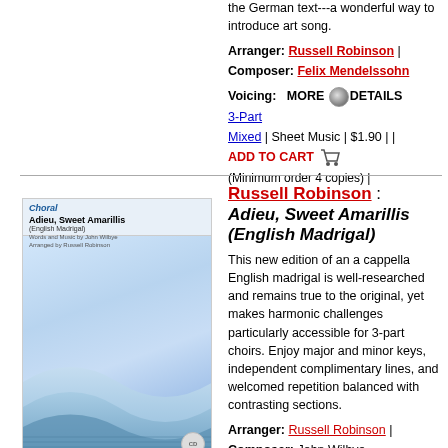the German text---a wonderful way to introduce art song.
Arranger: Russell Robinson | Composer: Felix Mendelssohn
Voicing: MORE DETAILS 3-Part Mixed | Sheet Music | $1.90 | | ADD TO CART
(Minimum order 4 copies) |
[Figure (photo): Book cover for Adieu, Sweet Amarillis (English Madrigal) with blue wave design]
Russell Robinson : Adieu, Sweet Amarillis (English Madrigal)
This new edition of an a cappella English madrigal is well-researched and remains true to the original, yet makes harmonic challenges particularly accessible for 3-part choirs. Enjoy major and minor keys, independent complimentary lines, and welcomed repetition balanced with contrasting sections.
Arranger: Russell Robinson | Composer: John Wilbye